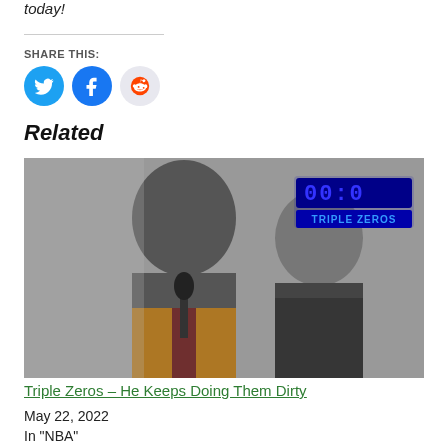today!
SHARE THIS:
[Figure (illustration): Social share buttons: Twitter (blue circle), Facebook (blue circle), Reddit (light grey circle)]
Related
[Figure (photo): Black and white photo of two men at a podium, with a Triple Zeros digital clock logo overlay in the upper right]
Triple Zeros – He Keeps Doing Them Dirty
May 22, 2022
In "NBA"